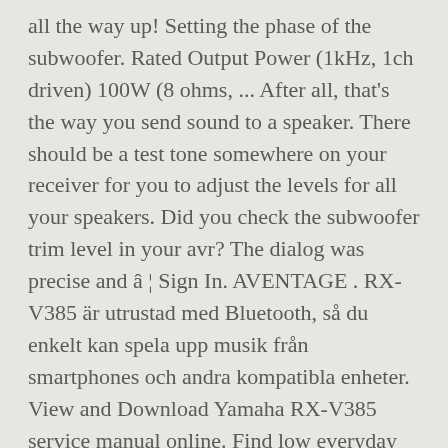all the way up! Setting the phase of the subwoofer. Rated Output Power (1kHz, 1ch driven) 100W (8 ohms, ... After all, that's the way you send sound to a speaker. There should be a test tone somewhere on your receiver for you to adjust the levels for all your speakers. Did you check the subwoofer trim level in your avr? The dialog was precise and â ¦ Sign In. AVENTAGE . RX-V385 är utrustad med Bluetooth, så du enkelt kan spela upp musik från smartphones och andra kompatibla enheter. View and Download Yamaha RX-V385 service manual online. Find low everyday prices and buy online for delivery or in-store pick-up If not getting any test tone from the sub at all, pull the cable from the sub pre-outs